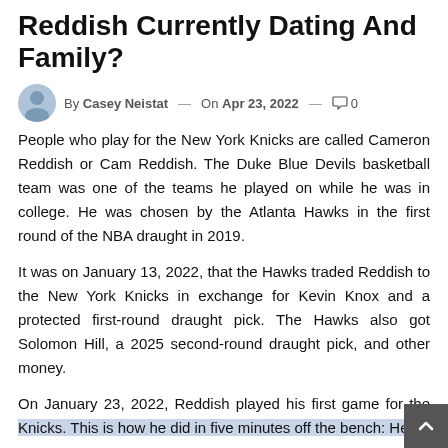Reddish Currently Dating And Family?
By Casey Neistat — On Apr 23, 2022 — 0
People who play for the New York Knicks are called Cameron Reddish or Cam Reddish. The Duke Blue Devils basketball team was one of the teams he played on while he was in college. He was chosen by the Atlanta Hawks in the first round of the NBA draught in 2019.
It was on January 13, 2022, that the Hawks traded Reddish to the New York Knicks in exchange for Kevin Knox and a protected first-round draught pick. The Hawks also got Solomon Hill, a 2025 second-round draught pick, and other money.
On January 23, 2022, Reddish played his first game for the Knicks. This is how he did in five minutes off the bench: He scored 2 points and grabbed 2 rebounds.